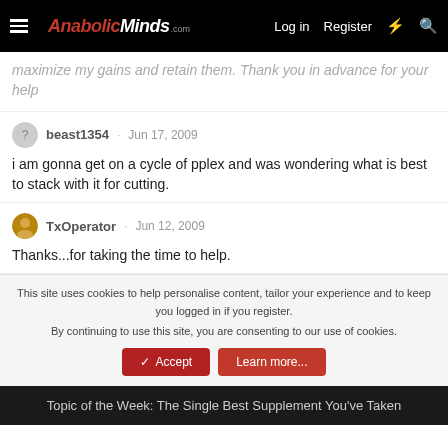AnabolicMinds.com — Log in | Register
maximize my gains and retain them. Thank you in advance for your help
beast1354 · Jun 17, 2009
i am gonna get on a cycle of pplex and was wondering what is best to stack with it for cutting.
TxOperator · Jun 12, 2009
Thanks...for taking the time to help.
This site uses cookies to help personalise content, tailor your experience and to keep you logged in if you register.
By continuing to use this site, you are consenting to our use of cookies.
[Accept] [Learn more...]
Topic of the Week: The Single Best Supplement You've Taken